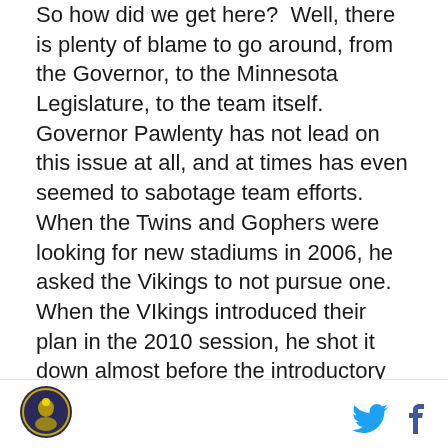So how did we get here?  Well, there is plenty of blame to go around, from the Governor, to the Minnesota Legislature, to the team itself.  Governor Pawlenty has not lead on this issue at all, and at times has even seemed to sabotage team efforts.  When the Twins and Gophers were looking for new stadiums in 2006, he asked the Vikings to not pursue one.  When the VIkings introduced their plan in the 2010 session, he shot it down almost before the introductory press conference had ended.  The Legislature doesn't understand the cultural and monetary importance that the Vikings have to so many people in the state, and across the country.  The Vikings bring in a tax revenue stream of $20 million a year to the state as I write this.  With a new stadium, that amount is almost sure to go
[logo] [twitter] [facebook]